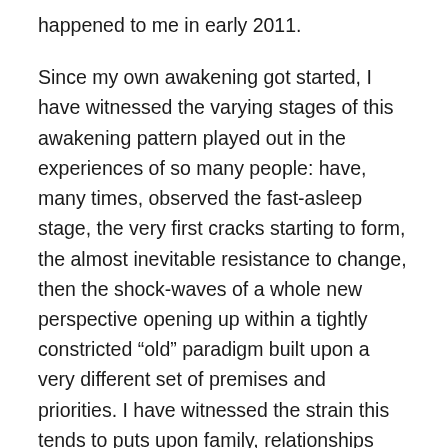happened to me in early 2011.
Since my own awakening got started, I have witnessed the varying stages of this awakening pattern played out in the experiences of so many people: have, many times, observed the fast-asleep stage, the very first cracks starting to form, the almost inevitable resistance to change, then the shock-waves of a whole new perspective opening up within a tightly constricted “old” paradigm built upon a very different set of premises and priorities. I have witnessed the strain this tends to puts upon family, relationships and careers; the conflict with lifestyle choices and the need to earn income. I have also come to recognise the patterns of those overwhelming waves of joy that come in, followed by the darkest old traumas resurfacing in their eagerness to be shown the healing light of that new day. There are many challenges that